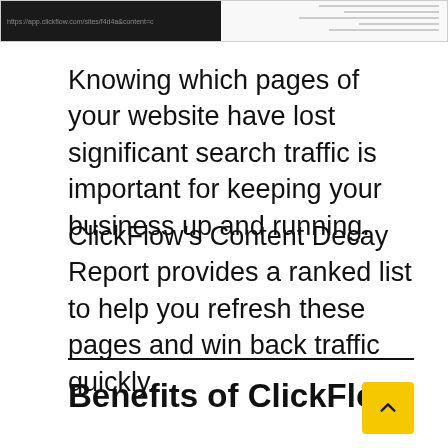[Figure (screenshot): Screenshot of a webpage with dark header bar showing a URL on the left and a light content area with faint lines on the right.]
Knowing which pages of your website have lost significant search traffic is important for keeping your business up and running.
ClickFlow’s Content Decay Report provides a ranked list to help you refresh these pages and win back traffic quickly.
Benefits of ClickFlow